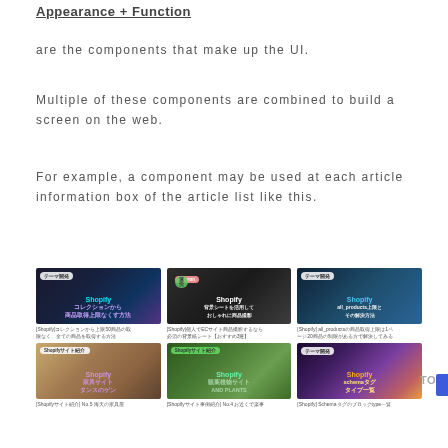Appearance + Function
are the components that make up the UI.
Multiple of these components are combined to build a screen on the web.
For example, a component may be used at each article information box of the article list like this.
[Figure (screenshot): A 2x3 grid of Shopify article card thumbnails showing various Shopify tutorials in Japanese, with colorful overlay text. Topics include collection product limits, background sheets for product photography, all_products limit solutions, furniture site introduction, plant site introduction, and schema tag type list.]